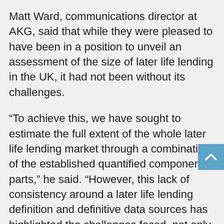Matt Ward, communications director at AKG, said that while they were pleased to have been in a position to unveil an assessment of the size of later life lending in the UK, it had not been without its challenges.
“To achieve this, we have sought to estimate the full extent of the whole later life lending market through a combination of the established quantified component parts,” he said. “However, this lack of consistency around a later life lending definition and definitive data sources has highlighted the challenges faced, not only by businesses keen to engage, but consumers looking to access their housing equity.”